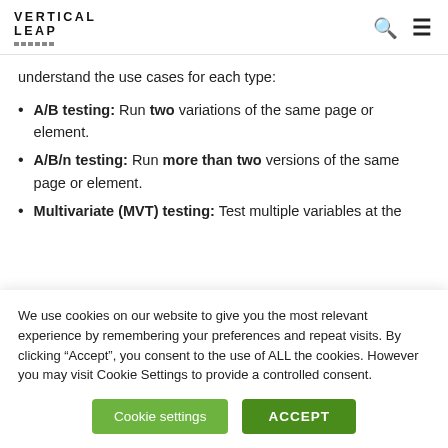Vertical Leap
understand the use cases for each type:
A/B testing: Run two variations of the same page or element.
A/B/n testing: Run more than two versions of the same page or element.
Multivariate (MVT) testing: Test multiple variables at the
We use cookies on our website to give you the most relevant experience by remembering your preferences and repeat visits. By clicking “Accept”, you consent to the use of ALL the cookies. However you may visit Cookie Settings to provide a controlled consent.